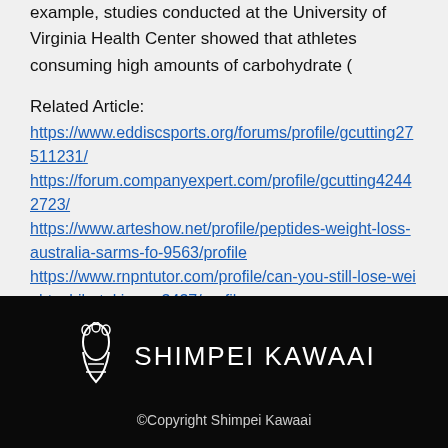example, studies conducted at the University of Virginia Health Center showed that athletes consuming high amounts of carbohydrate (
Related Article:
https://www.eddiscsports.org/forums/profile/gcutting27511231/
https://forum.companyexpert.com/profile/gcutting42442723/
https://www.arteshow.net/profile/peptides-weight-loss-australia-sarms-fo-9563/profile
https://www.rnpntutor.com/profile/can-you-still-lose-weight-while-taking-p-3437/profile
[Figure (logo): Shimpei Kawaai logo: footprint icon in white outline next to text SHIMPEI KAWAAI in white on black background]
©Copyright Shimpei Kawaai